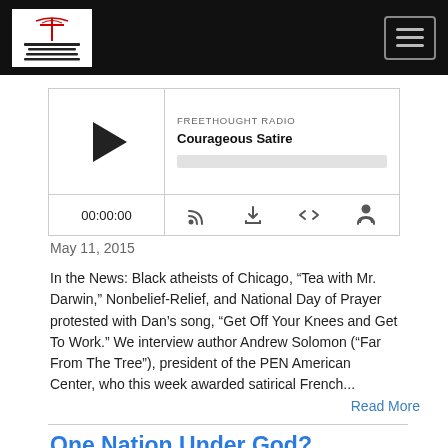Freethought Radio - navigation header
[Figure (other): Audio player widget for 'Courageous Satire' episode on Freethought Radio with play button, progress bar, timer showing 00:00:00, and control icons]
May 11, 2015
In the News: Black atheists of Chicago, “Tea with Mr. Darwin,” Nonbelief-Relief, and National Day of Prayer protested with Dan’s song, “Get Off Your Knees and Get To Work.” We interview author Andrew Solomon (“Far From The Tree”), president of the PEN American Center, who this week awarded satirical French...
Read More
One Nation Under God?